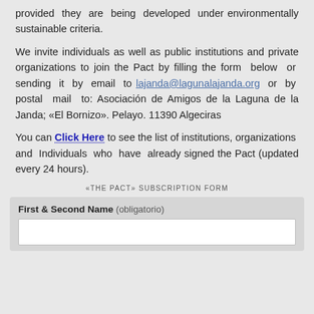provided they are being developed under environmentally sustainable criteria.
We invite individuals as well as public institutions and private organizations to join the Pact by filling the form below or sending it by email to lajanda@lagunalajanda.org or by postal mail to: Asociación de Amigos de la Laguna de la Janda; «El Bornizo». Pelayo. 11390 Algeciras
You can Click Here to see the list of institutions, organizations and Individuals who have already signed the Pact (updated every 24 hours).
«THE PACT» SUBSCRIPTION FORM
First & Second Name (obligatorio)